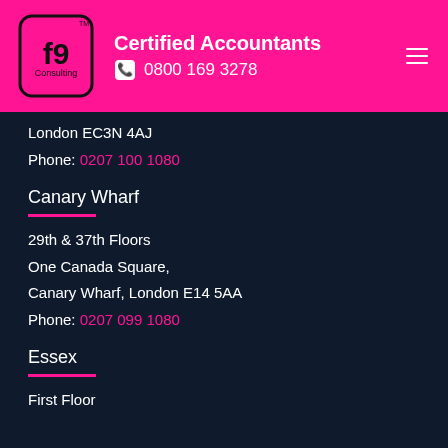f9 Consulting — Certified Accountants | 0800 169 3278
London EC3N 4AJ
Phone: 0207 100 1080
Canary Wharf
29th & 37th Floors
One Canada Square,
Canary Wharf, London E14 5AA
Phone: 0207 099 1080
Essex
First Floor